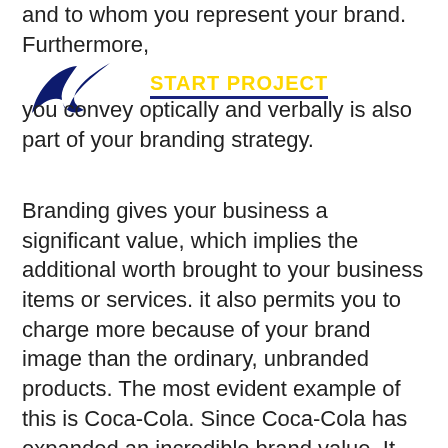and to whom you represent your brand. Furthermore, what you convey optically and verbally is also part of your branding strategy.
[Figure (logo): Dark blue bird/check logo (resembling a stylized bird or swoosh shape) in the upper left area]
START PROJECT (yellow CTA banner with underline overlay)
Branding gives your business a significant value, which implies the additional worth brought to your business items or services. it also permits you to charge more because of your brand image than the ordinary, unbranded products. The most evident example of this is Coca-Cola. Since Coca-Cola has expanded an incredible brand value. It can charge more for its item – and clients give it an easy go.
The additional worth created through branding value often increases when you attach the quality with some enthusiastic connection. For instance, Nike connects its items with star athletes, trusting clients will move their vibrant relation from the athletes to